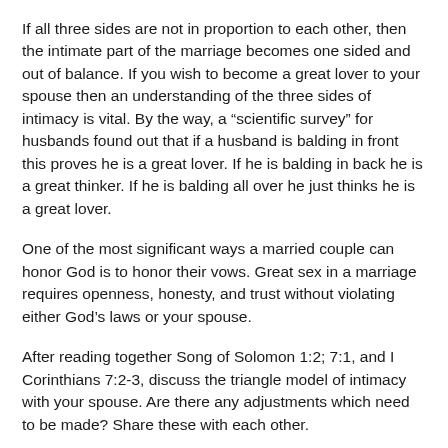If all three sides are not in proportion to each other, then the intimate part of the marriage becomes one sided and out of balance. If you wish to become a great lover to your spouse then an understanding of the three sides of intimacy is vital. By the way, a “scientific survey” for husbands found out that if a husband is balding in front this proves he is a great lover. If he is balding in back he is a great thinker. If he is balding all over he just thinks he is a great lover.
One of the most significant ways a married couple can honor God is to honor their vows. Great sex in a marriage requires openness, honesty, and trust without violating either God’s laws or your spouse.
After reading together Song of Solomon 1:2; 7:1, and I Corinthians 7:2-3, discuss the triangle model of intimacy with your spouse. Are there any adjustments which need to be made? Share these with each other.